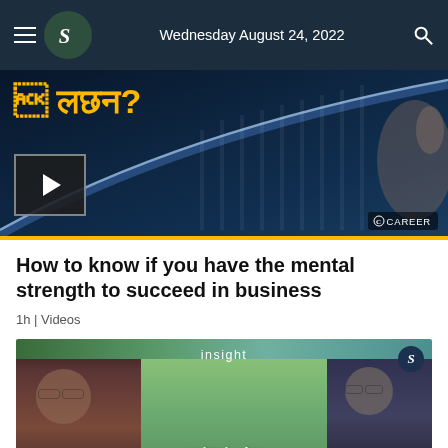Wednesday August 24, 2022
[Figure (screenshot): Video thumbnail with Bengali text and play button on dark blue background with glowing line chart, Career badge at bottom right]
How to know if you have the mental strength to succeed in business
1h | Videos
[Figure (screenshot): Video thumbnail labeled 'insight' with two men and Bengali text, S logo badge]